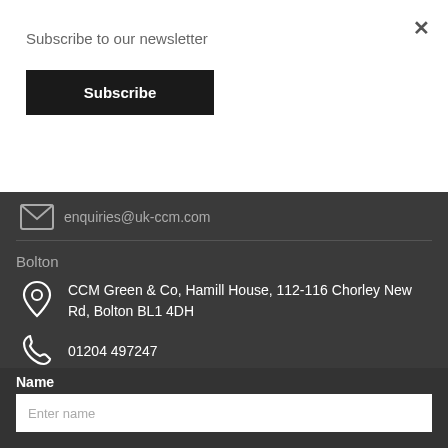Subscribe to our newsletter
Subscribe
×
enquiries@uk-ccm.com
Bolton
CCM Green & Co, Hamill House, 112-116 Chorley New Rd, Bolton BL1 4DH
01204 497247
enquiries@uk-ccm.com
Name
Enter name